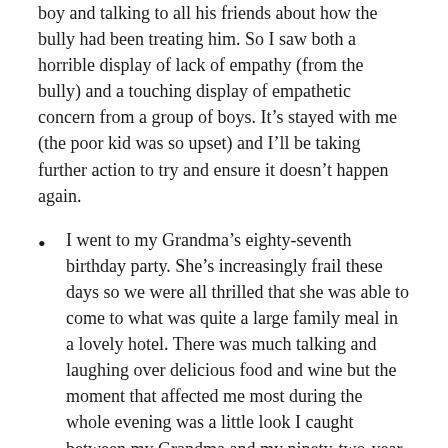boy and talking to all his friends about how the bully had been treating him. So I saw both a horrible display of lack of empathy (from the bully) and a touching display of empathetic concern from a group of boys. It’s stayed with me (the poor kid was so upset) and I’ll be taking further action to try and ensure it doesn’t happen again.
I went to my Grandma’s eighty-seventh birthday party. She’s increasingly frail these days so we were all thrilled that she was able to come to what was quite a large family meal in a lovely hotel. There was much talking and laughing over delicious food and wine but the moment that affected me most during the whole evening was a little look I caught between my Grandma and my ninety-two-year-old Grandpa. It was just after my Grandma had said a little ‘thank you’ speech about how happy she was to see us all there, and the look… it was a look of such love. Of long lasting ‘I’ve loved you through the decades and look what we’ve created